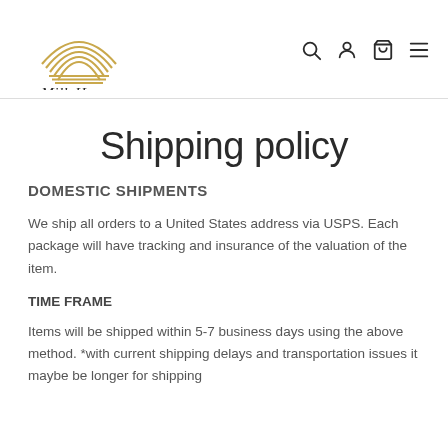[Figure (logo): Milk Honey Collection logo with rainbow arch and script text]
Shipping policy
DOMESTIC SHIPMENTS
We ship all orders to a United States address via USPS. Each package will have tracking and insurance of the valuation of the item.
TIME FRAME
Items will be shipped within 5-7 business days using the above method. *with current shipping delays and transportation issues it maybe be longer for shipping